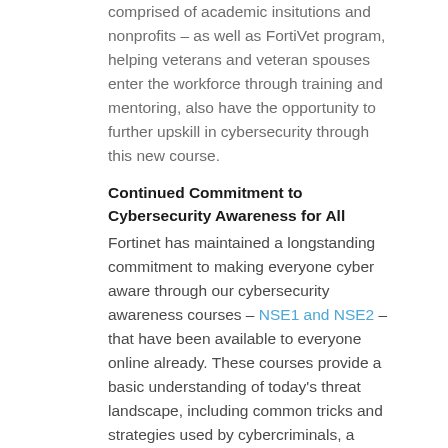comprised of academic insitutions and nonprofits – as well as FortiVet program, helping veterans and veteran spouses enter the workforce through training and mentoring, also have the opportunity to further upskill in cybersecurity through this new course.
Continued Commitment to Cybersecurity Awareness for All
Fortinet has maintained a longstanding commitment to making everyone cyber aware through our cybersecurity awareness courses – NSE1 and NSE2 – that have been available to everyone online already. These courses provide a basic understanding of today's threat landscape, including common tricks and strategies used by cybercriminals, a familiarity with essential cybersecurity concepts, and an